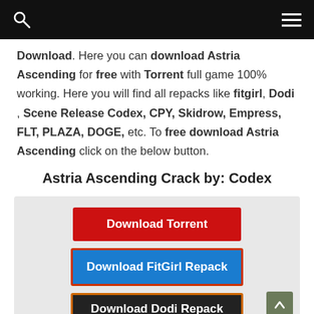[Search icon] [Menu icon]
Download. Here you can download Astria Ascending for free with Torrent full game 100% working. Here you will find all repacks like fitgirl, Dodi , Scene Release Codex, CPY, Skidrow, Empress, FLT, PLAZA, DOGE, etc. To free download Astria Ascending click on the below button.
Astria Ascending Crack by: Codex
Download Torrent | Download FitGirl Repack | Download Dodi Repack (buttons)